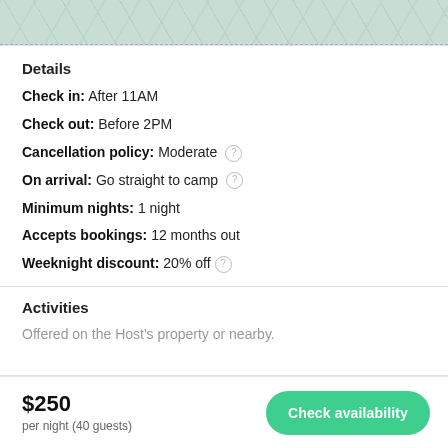[Figure (illustration): Map strip showing a topographic/terrain map in muted teal and green tones, partial view at top of page]
Details
Check in: After 11AM
Check out: Before 2PM
Cancellation policy: Moderate
On arrival: Go straight to camp
Minimum nights: 1 night
Accepts bookings: 12 months out
Weeknight discount: 20% off
Activities
Offered on the Host's property or nearby.
$250 per night (40 guests)
Check availability